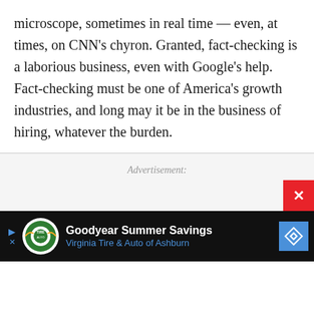microscope, sometimes in real time — even, at times, on CNN's chyron. Granted, fact-checking is a laborious business, even with Google's help. Fact-checking must be one of America's growth industries, and long may it be in the business of hiring, whatever the burden.
Advertisement:
[Figure (other): Advertisement banner at bottom of page showing Goodyear Summer Savings — Virginia Tire & Auto of Ashburn ad with logo and navigation arrow icon, on dark background. Close button (X) in red visible at top right of ad area.]